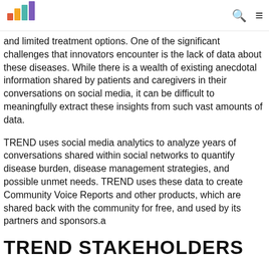[Logo] [search icon] [menu icon]
and limited treatment options. One of the significant challenges that innovators encounter is the lack of data about these diseases. While there is a wealth of existing anecdotal information shared by patients and caregivers in their conversations on social media, it can be difficult to meaningfully extract these insights from such vast amounts of data.
TREND uses social media analytics to analyze years of conversations shared within social networks to quantify disease burden, disease management strategies, and possible unmet needs. TREND uses these data to create Community Voice Reports and other products, which are shared back with the community for free, and used by its partners and sponsors.a
TREND STAKEHOLDERS